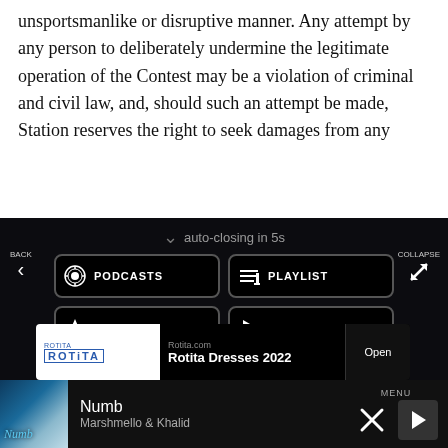unsportsmanlike or disruptive manner. Any attempt by any person to deliberately undermine the legitimate operation of the Contest may be a violation of criminal and civil law, and, should such an attempt be made, Station reserves the right to seek damages from any
auto-closing in 5s
BACK
PODCASTS
PLAYLIST
TOP HITS
LISTEN LIVE
MY VOTES
CONTROLS
COLLAPSE
Data opt-out
Rotita.com
Rotita Dresses 2022
Open
Numb
Marshmello & Khalid
MENU